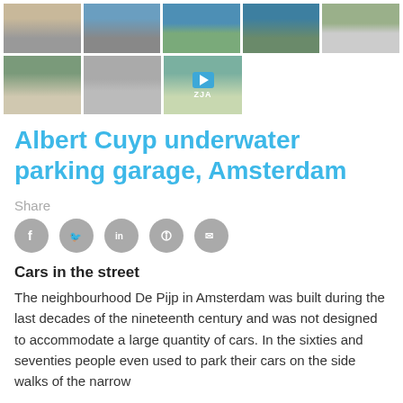[Figure (photo): Top row of five thumbnail images: aerial/street views of Amsterdam De Pijp area]
[Figure (photo): Second row of three thumbnails: street view, parking/aerial view, and a video thumbnail with play button labeled ZJA]
Albert Cuyp underwater parking garage, Amsterdam
Share
[Figure (infographic): Social sharing icons: Facebook, Twitter, LinkedIn, Pinterest, WhatsApp]
Cars in the street
The neighbourhood De Pijp in Amsterdam was built during the last decades of the nineteenth century and was not designed to accommodate a large quantity of cars. In the sixties and seventies people even used to park their cars on the side walks of the narrow